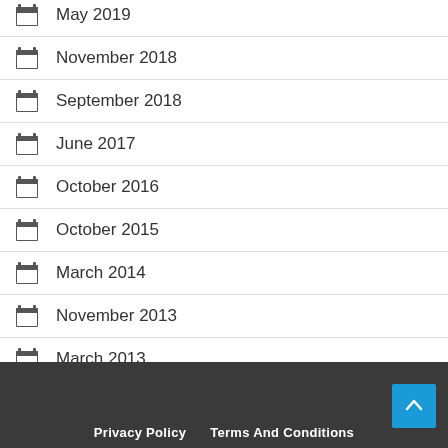May 2019
November 2018
September 2018
June 2017
October 2016
October 2015
March 2014
November 2013
March 2013
December 2010
December 2009
Privacy Policy   Terms And Conditions